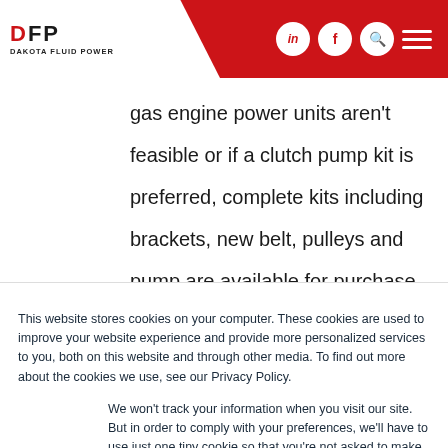Dakota Fluid Power - DFP header with logo and navigation icons
gas engine power units aren't feasible or if a clutch pump kit is preferred, complete kits including brackets, new belt, pulleys and pump are available for purchase for certain vehicles. In addition to the kit, a hydraulic tank
This website stores cookies on your computer. These cookies are used to improve your website experience and provide more personalized services to you, both on this website and through other media. To find out more about the cookies we use, see our Privacy Policy.
We won't track your information when you visit our site. But in order to comply with your preferences, we'll have to use just one tiny cookie so that you're not asked to make this choice again.